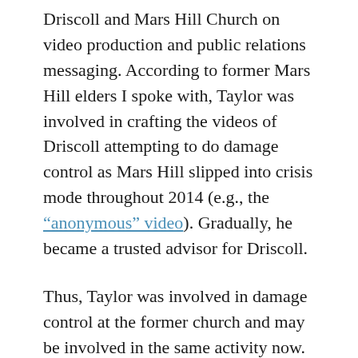Driscoll and Mars Hill Church on video production and public relations messaging. According to former Mars Hill elders I spoke with, Taylor was involved in crafting the videos of Driscoll attempting to do damage control as Mars Hill slipped into crisis mode throughout 2014 (e.g., the “anonymous” video). Gradually, he became a trusted advisor for Driscoll.
Thus, Taylor was involved in damage control at the former church and may be involved in the same activity now. While I can’t prove this (since nobody sees financial statements at The Trinity Church), it is quite possible that The Trinity Church and Real Faith are clients of the Dunham Agency. I asked Marc Lucas about the